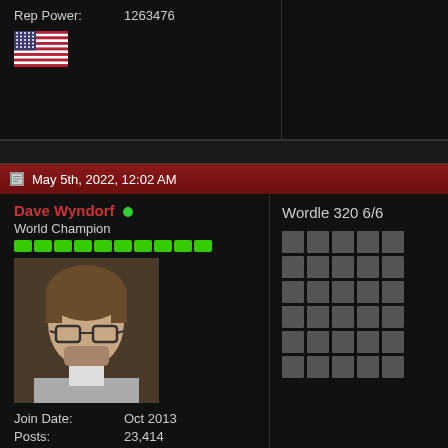Rep Power: 1263476
[Figure (illustration): US flag icon]
May 5th, 2022, 12:02 AM
Dave Wyndorf
World Champion
[Figure (photo): Profile photo of Dave Wyndorf, middle-aged man with glasses and stubble]
Join Date: Oct 2013
Posts: 23,414
Mentioned: 355 Post(s)
Tagged: 0 Thread(s)
Rep Power: 1980667
Wordle 320 6/6
[Figure (other): Wordle 320 6/6 grid - 6 rows of 5 gray/empty squares]